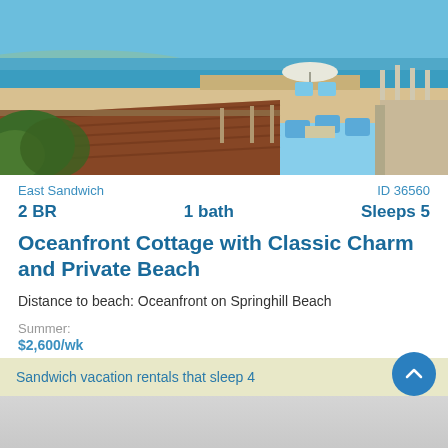[Figure (photo): Oceanfront beach cottage photo showing wooden deck with chairs, sandy beach, blue ocean, and white umbrella in background]
East Sandwich    ID 36560
2 BR    1 bath    Sleeps 5
Oceanfront Cottage with Classic Charm and Private Beach
Distance to beach: Oceanfront on Springhill Beach
Summer:
$2,600/wk
Off Season:
$1,400/wk
Sandwich vacation rentals that sleep 4